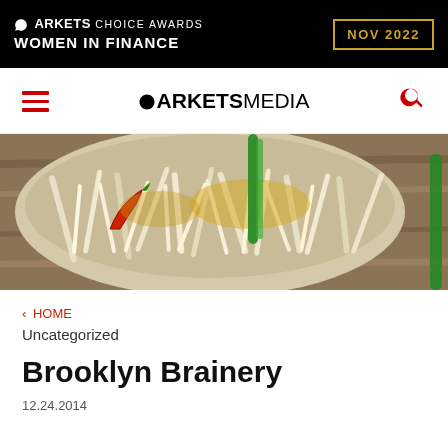[Figure (logo): Markets Choice Awards Women in Finance NOV 2022 advertisement banner with black background and gold border box]
MARKETS MEDIA navigation bar with hamburger menu, logo, and search icon
[Figure (photo): Bowl of Asian noodles/bean sprouts with red chili pepper and green onion on a wooden surface]
< HOME
Uncategorized
Brooklyn Brainery
12.24.2014